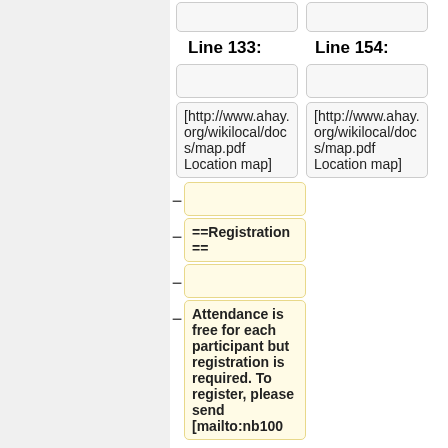Line 133:
Line 154:
[http://www.ahay.org/wikilocal/docs/map.pdf Location map]
[http://www.ahay.org/wikilocal/docs/map.pdf Location map]
−
==Registration==
−
Attendance is free for each participant but registration is required. To register, please send [mailto:nb100